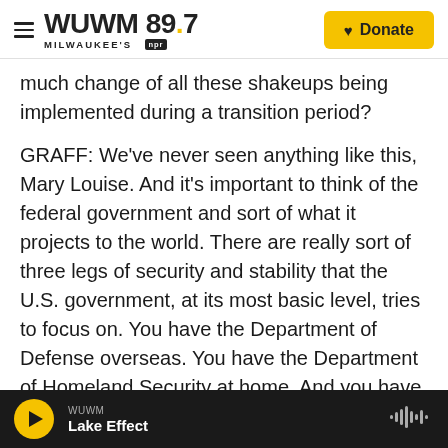WUWM 89.7 Milwaukee's NPR — Donate
much change of all these shakeups being implemented during a transition period?
GRAFF: We've never seen anything like this, Mary Louise. And it's important to think of the federal government and sort of what it projects to the world. There are really sort of three legs of security and stability that the U.S. government, at its most basic level, tries to focus on. You have the Department of Defense overseas. You have the Department of Homeland Security at home. And you have the Treasury Department focused on the U.S. economy here at home. There are big
WUWM — Lake Effect